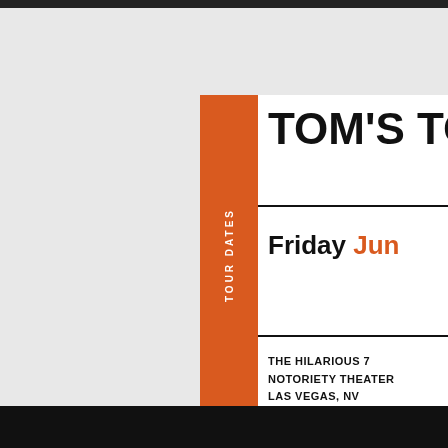TOM'S TO
TOUR DATES
Friday Jun
THE HILARIOUS 7
NOTORIETY THEATER
LAS VEGAS, NV